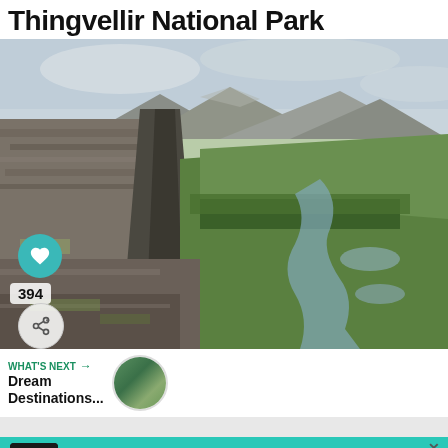Thingvellir National Park
[Figure (photo): Landscape photo of Thingvellir National Park showing rocky rift valley walls, green meadows, a winding river, and mountains in the background under a cloudy sky]
394
WHAT'S NEXT → Dream Destinations...
[Figure (photo): Small circular thumbnail of a landscape]
PAWFECT MATCH